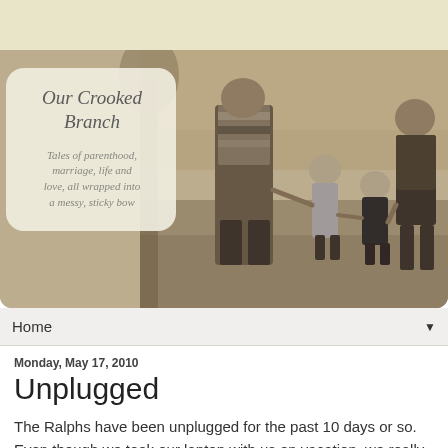[Figure (photo): Blog header banner showing a sepia-toned family photo of two adults and two young children walking together outdoors near water and trees, with an overlay text box showing the blog name 'Our Crooked Branch' and tagline 'Tales of parenthood, marriage, life and love, all wrapped into a messy, sticky bow']
Home ▼
Monday, May 17, 2010
Unplugged
The Ralphs have been unplugged for the past 10 days or so.  Even though we took our laptop with us on vacation, we really tried to just enjoy our time together, doing things TOGETHER. Here are some features and the results of our